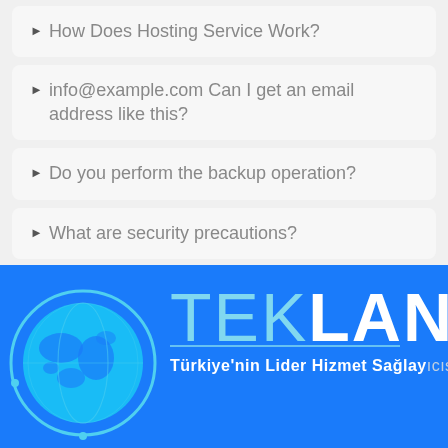How Does Hosting Service Work?
info@example.com Can I get an email address like this?
Do you perform the backup operation?
What are security precautions?
[Figure (logo): TEKLAN logo with globe icon and tagline: Türkiye'nin Lider Hizmet Sağlayıcısı on a blue background]